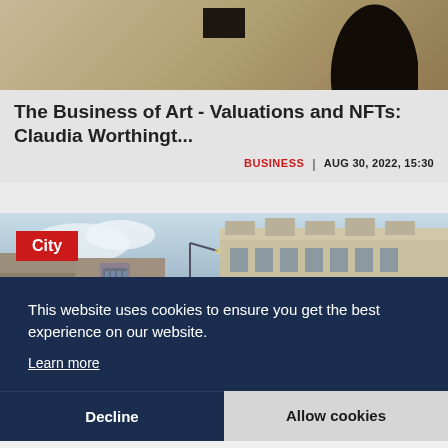[Figure (photo): Top portion of an article card showing a partial photo with a dark silhouette and beige/brown tones, with a small dark rectangle near center top]
The Business of Art - Valuations and NFTs: Claudia Worthingt...
BUSINESS | AUG 30, 2022, 15:30
[Figure (photo): City street photo showing European-style buildings, storefronts, street lights, and blue sky with clouds. A red 'City' tag label is overlaid in the top left corner.]
This website uses cookies to ensure you get the best experience on our website.
Learn more
Decline
Allow cookies